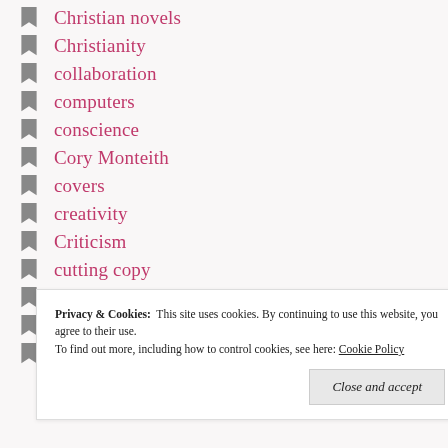Christian novels
Christianity
collaboration
computers
conscience
Cory Monteith
covers
creativity
Criticism
cutting copy
daily life
demons
depression
Privacy & Cookies:  This site uses cookies. By continuing to use this website, you agree to their use.
To find out more, including how to control cookies, see here: Cookie Policy
Close and accept